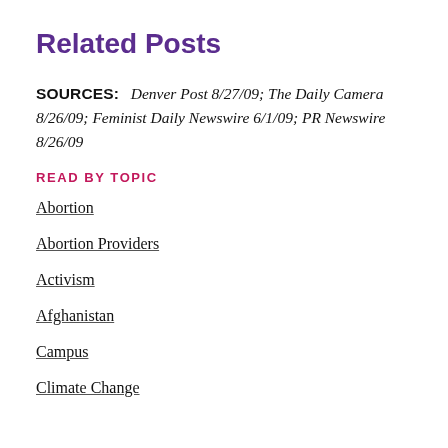Related Posts
SOURCES:  Denver Post 8/27/09; The Daily Camera 8/26/09; Feminist Daily Newswire 6/1/09; PR Newswire 8/26/09
READ BY TOPIC
Abortion
Abortion Providers
Activism
Afghanistan
Campus
Climate Change